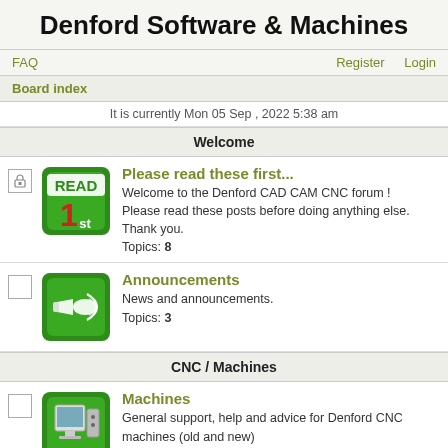Denford Software & Machines
FAQ | Register | Login
Board index
It is currently Mon 05 Sep , 2022 5:38 am
Welcome
Please read these first... Welcome to the Denford CAD CAM CNC forum ! Please read these posts before doing anything else. Thank you. Topics: 8
Announcements News and announcements. Topics: 3
CNC / Machines
Machines General support, help and advice for Denford CNC machines (old and new) Moderators: Steve, Mr Magoo, Martin, bradders Subforum: VersaLaser Topics: 3017
Electronics (partial)